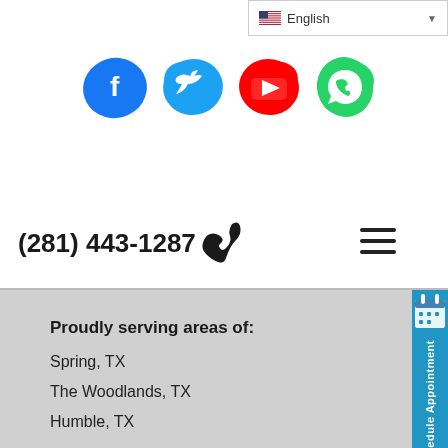English (language selector)
[Figure (logo): Social media icons row: Facebook (blue), Twitter (blue), YouTube (red), WhatsApp (green) — all in paint-splatter style]
(281) 443-1287
[Figure (infographic): Hamburger menu icon (three horizontal lines)]
[Figure (infographic): Schedule Appointment sidebar button with calendar icon, teal/blue background, vertical white text]
Proudly serving areas of:
Spring, TX
The Woodlands, TX
Humble, TX